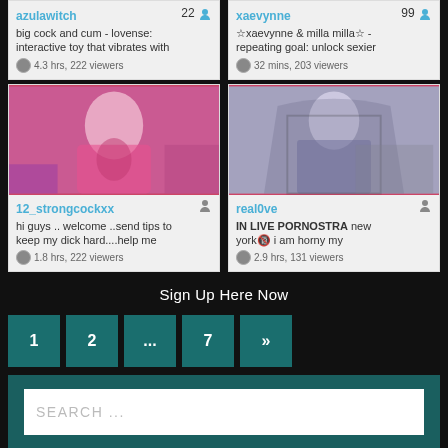azulawitch 22 | big cock and cum - lovense: interactive toy that vibrates with | 4.3 hrs, 222 viewers
xaevynne 99 | ☆xaevynne & milla milla☆ - repeating goal: unlock sexier | 32 mins, 203 viewers
[Figure (photo): 12_strongcockxx thumbnail - person in pink lingerie]
12_strongcockxx | hi guys .. welcome ..send tips to keep my dick hard....help me | 1.8 hrs, 222 viewers
[Figure (photo): real0ve thumbnail - person in fishnet bodysuit]
real0ve | IN LIVE PORNOSTRA new york🔞 i am horny my | 2.9 hrs, 131 viewers
Sign Up Here Now
1
2
...
7
»
SEARCH ...